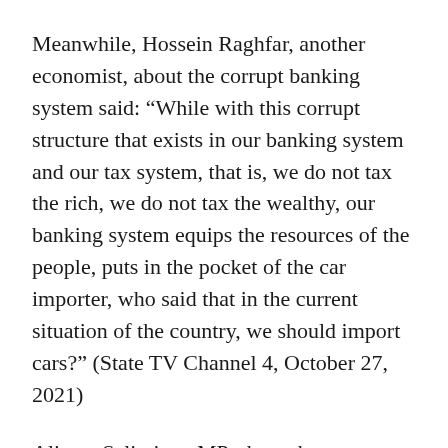Meanwhile, Hossein Raghfar, another economist, about the corrupt banking system said: “While with this corrupt structure that exists in our banking system and our tax system, that is, we do not tax the rich, we do not tax the wealthy, our banking system equips the resources of the people, puts in the pocket of the car importer, who said that in the current situation of the country, we should import cars?” (State TV Channel 4, October 27, 2021)
Alireza Salimi, an MP, about the consequences of the banking system corruption, said: “It is necessary to reform the monetary and banking system and change the course of banks from